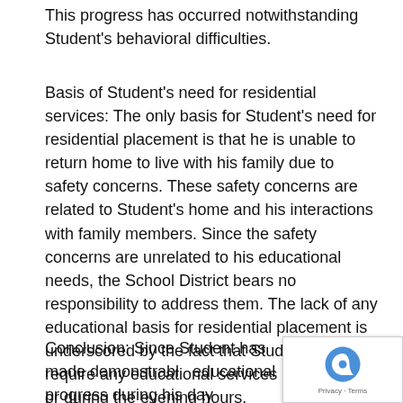This progress has occurred notwithstanding Student's behavioral difficulties.
Basis of Student's need for residential services: The only basis for Student's need for residential placement is that he is unable to return home to live with his family due to safety concerns. These safety concerns are related to Student's home and his interactions with family members. Since the safety concerns are unrelated to his educational needs, the School District bears no responsibility to address them. The lack of any educational basis for residential placement is underscored by the fact that Student does not require any educational services after school or during the evening hours.
Conclusion: Since Student has made demonstrable educational progress during his day placement at R... and since residential services are needed only to re... th...